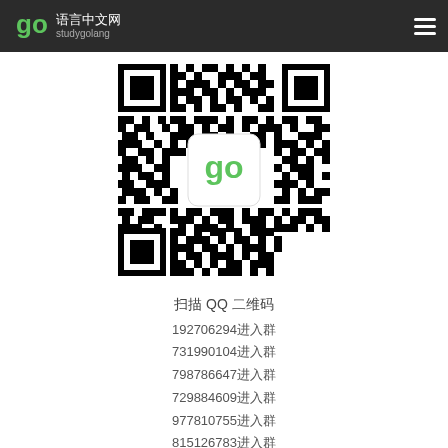语言中文网 studygolang
[Figure (other): QR code with Go gopher logo in the center, black and white pattern]
扫描 QQ 二维码
192706294进入群
731990104进入群
798786647进入群
729884609进入群
977810755进入群
815126783进入群
812540095进入群
1006366459进入群
692541889